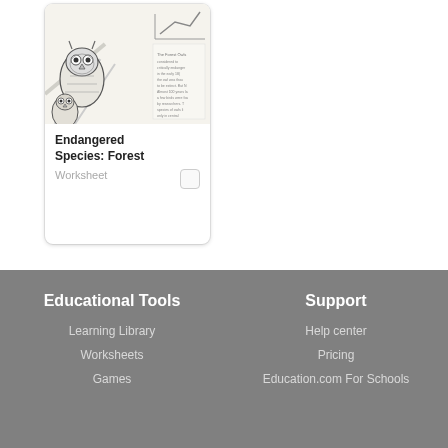[Figure (illustration): Thumbnail image of two owls (forest owls) in black and white line art with some text visible, on a beige background]
Endangered Species: Forest
Worksheet
Educational Tools
Learning Library
Worksheets
Games
Support
Help center
Pricing
Education.com For Schools